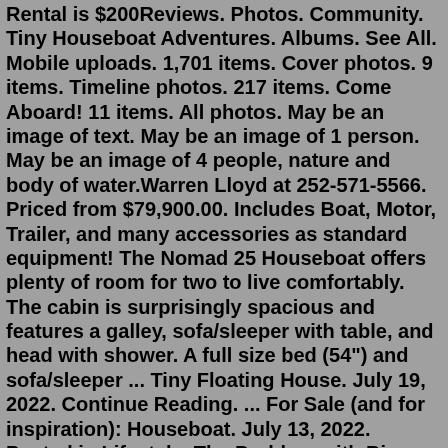Rental is $200Reviews. Photos. Community. Tiny Houseboat Adventures. Albums. See All. Mobile uploads. 1,701 items. Cover photos. 9 items. Timeline photos. 217 items. Come Aboard! 11 items. All photos. May be an image of text. May be an image of 1 person. May be an image of 4 people, nature and body of water.Warren Lloyd at 252-571-5566. Priced from $79,900.00. Includes Boat, Motor, Trailer, and many accessories as standard equipment! The Nomad 25 Houseboat offers plenty of room for two to live comfortably. The cabin is surprisingly spacious and features a galley, sofa/sleeper with table, and head with shower. A full size bed (54") and sofa/sleeper ... Tiny Floating House. July 19, 2022. Continue Reading. ... For Sale (and for inspiration): Houseboat. July 13, 2022. Posted in Lifestyle. The Problem with Big Boats. Our tiny homes, glamping tents, and forest cabins can accommodate 4 to 6 guests. For up to 18 guests, we have a large luxury cabin. The entire property contains numerous modern amenities, such as the oversized resort pool. Whether you require just